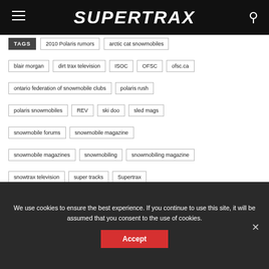SUPERTRAX
TAGS | 2010 Polaris rumors | arctic cat snowmobiles
blair morgan | dirt trax television | ISOC | OFSC | ofsc.ca
ontario federation of snowmobile clubs | polaris rush
polaris snowmobiles | REV | ski doo | sled mags
snowmobile forums | snowmobile magazine
snowmobile magazines | snowmobiling | snowmobiling magazine
snowtrax television | super tracks | Supertrax
supertrax magazine super trax | tucker hibbert | update
yamaha snowmobiles
We use cookies to ensure the best experience. If you continue to use this site, it will be assumed that you consent to the use of cookies.